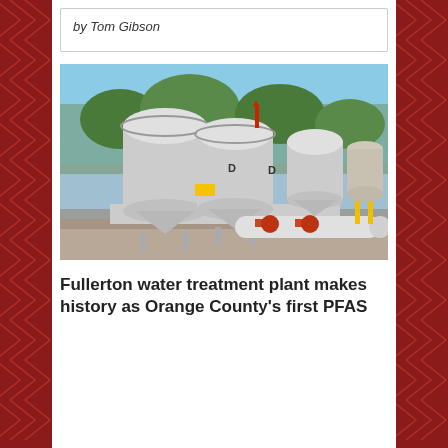by Tom Gibson
[Figure (photo): Water treatment plant equipment — multiple white cylindrical pressure vessels/filter tanks with red and orange piping and valves, arranged outdoors on a sunny day with trees in the background.]
Fullerton water treatment plant makes history as Orange County's first PFAS